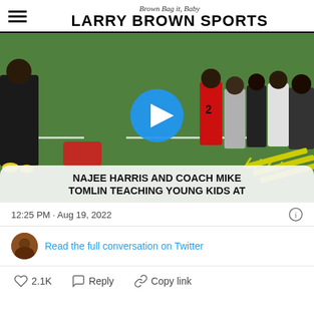Brown Bag it, Baby — LARRY BROWN SPORTS
[Figure (screenshot): Video thumbnail showing Najee Harris and Coach Mike Tomlin on a football field with young kids. A blue play button circle is overlaid in the center. A caption overlay at the bottom reads: NAJEE HARRIS AND COACH MIKE TOMLIN TEACHING YOUNG KIDS AT]
12:25 PM · Aug 19, 2022
Read the full conversation on Twitter
2.1K   Reply   Copy link